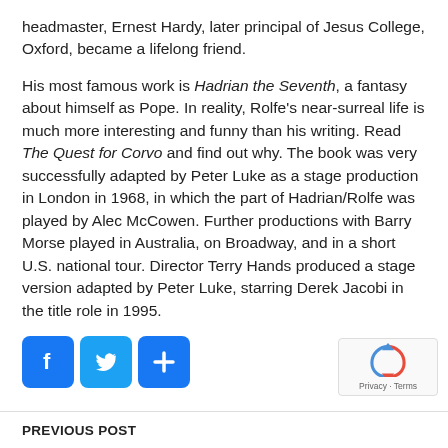headmaster, Ernest Hardy, later principal of Jesus College, Oxford, became a lifelong friend.
His most famous work is Hadrian the Seventh, a fantasy about himself as Pope. In reality, Rolfe's near-surreal life is much more interesting and funny than his writing. Read The Quest for Corvo and find out why. The book was very successfully adapted by Peter Luke as a stage production in London in 1968, in which the part of Hadrian/Rolfe was played by Alec McCowen. Further productions with Barry Morse played in Australia, on Broadway, and in a short U.S. national tour. Director Terry Hands produced a stage version adapted by Peter Luke, starring Derek Jacobi in the title role in 1995.
[Figure (other): Three social sharing buttons: Facebook (blue f), Twitter (blue bird), and a blue plus/share button]
[Figure (other): reCAPTCHA widget showing a recycling arrows icon and 'Privacy - Terms' text]
PREVIOUS POST